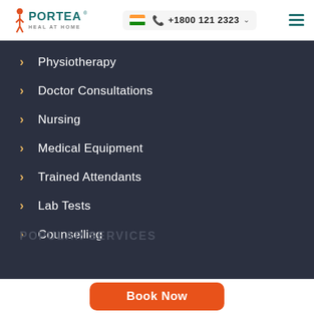Portea – Heal at Home | +1800 121 2323
Physiotherapy
Doctor Consultations
Nursing
Medical Equipment
Trained Attendants
Lab Tests
Counselling
POPULAR SERVICES
Book Now